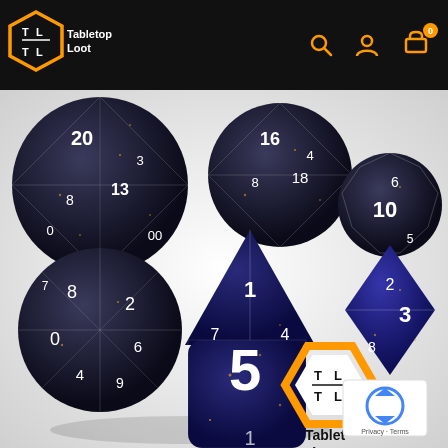Tabletop Loot — navigation header with logo, search, account, and cart icons
[Figure (photo): Seven tabletop RPG dice (d4, d6, d8, d10, d12, d20 x2) in black and dark blue with gold glitter flecks and white numerals, arranged on a white background. A Tabletop Loot logo watermark appears in the bottom right of the image. A reCAPTCHA widget and Privacy/Terms links appear overlaid at the bottom right corner.]